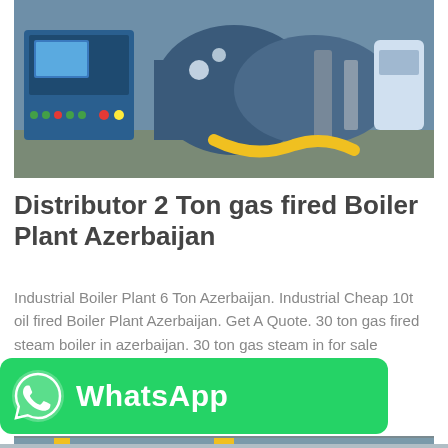[Figure (photo): Industrial gas-fired boiler plant machinery with blue control panel on left and industrial piping/equipment on right, in a factory setting.]
Distributor 2 Ton gas fired Boiler Plant Azerbaijan
Industrial Boiler Plant 6 Ton Azerbaijan. Industrial Cheap 10t oil fired Boiler Plant Azerbaijan. Get A Quote. 30 ton gas fired steam boiler in azerbaijan. 30 ton gas steam in for sale commercial 1t brunei Best…
[Figure (other): WhatsApp banner — green rounded rectangle with WhatsApp logo icon and text 'WhatsApp']
[Figure (photo): Industrial boiler piping with yellow gas pipes and grey industrial equipment, partially visible at bottom of page.]